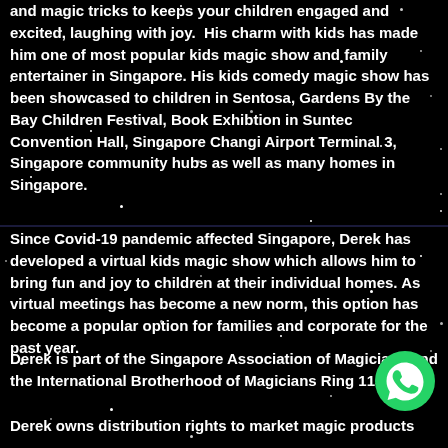and magic tricks to keeps your children engaged and excited, laughing with joy.  His charm with kids has made him one of most popular kids magic show and family entertainer in Singapore. His kids comedy magic show has been showcased to children in Sentosa, Gardens By the Bay Children Festival, Book Exhibtion in Suntec Convention Hall, Singapore Changi Airport Terminal 3, Singapore community hubs as well as many homes in Singapore.
Since Covid-19 pandemic affected Singapore, Derek has developed a virtual kids magic show which allows him to bring fun and joy to children at their individual homes. As virtual meetings has become a new norm, this option has become a popular option for families and corporate for the past year.
Derek is part of the Singapore Association of Magicians and the International Brotherhood of Magicians Ring 115.
Derek owns distribution rights to market magic products
[Figure (logo): WhatsApp logo icon (green circle with white phone handset)]